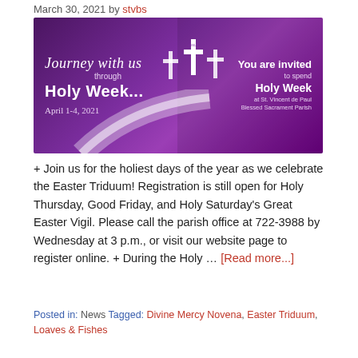March 30, 2021 by stvbs
[Figure (illustration): Purple banner image for Holy Week at St. Vincent de Paul Blessed Sacrament Parish. Left side: 'Journey with us through Holy Week... April 1-4, 2021' in white text with three crosses. Right side: 'You are invited to spend Holy Week at St. Vincent de Paul Blessed Sacrament Parish']
+ Join us for the holiest days of the year as we celebrate the Easter Triduum! Registration is still open for Holy Thursday, Good Friday, and Holy Saturday's Great Easter Vigil. Please call the parish office at 722-3988 by Wednesday at 3 p.m., or visit our website page to register online. + During the Holy … [Read more...]
Posted in: News Tagged: Divine Mercy Novena, Easter Triduum, Loaves & Fishes